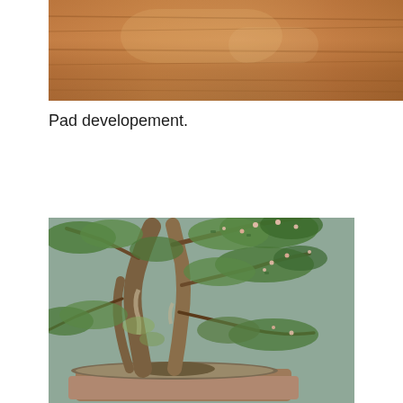[Figure (photo): Close-up photograph of a wooden surface or wooden shelf with warm brown tones, slightly blurred, forming the top portion of the page.]
Pad developement.
[Figure (photo): Photograph of a bonsai tree in a rectangular terracotta-colored pot. The tree has a gnarled, twisted trunk with visible bark texture and moss growth. The branches spread outward and upward with small green leaves and small white/pink flowers. The background is a muted gray-green color.]